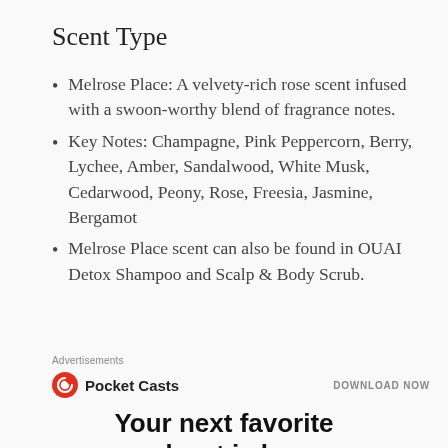Scent Type
Melrose Place: A velvety-rich rose scent infused with a swoon-worthy blend of fragrance notes.
Key Notes: Champagne, Pink Peppercorn, Berry, Lychee, Amber, Sandalwood, White Musk, Cedarwood, Peony, Rose, Freesia, Jasmine, Bergamot
Melrose Place scent can also be found in OUAI Detox Shampoo and Scalp & Body Scrub.
Advertisements
[Figure (logo): Pocket Casts logo with red circular icon and text 'Pocket Casts', plus 'DOWNLOAD NOW' text on the right]
Your next favorite podcast is here.